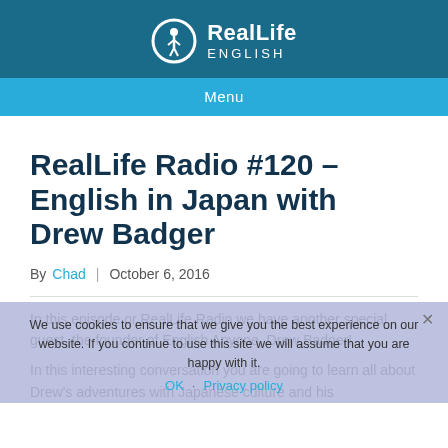[Figure (logo): RealLife English logo with circular icon and text 'RealLife ENGLISH' on dark teal background]
Menu
RealLife Radio #120 – English in Japan with Drew Badger
By Chad | October 6, 2016
In this episode or RealLife Radio we have another special guest, the founder of English Anyone, Drew Badger!
In this interesting conversation you are going to learn all about Drew's adventures with Japanese culture and his
We use cookies to ensure that we give you the best experience on our website. If you continue to use this site we will assume that you are happy with it. OK  Privacy policy